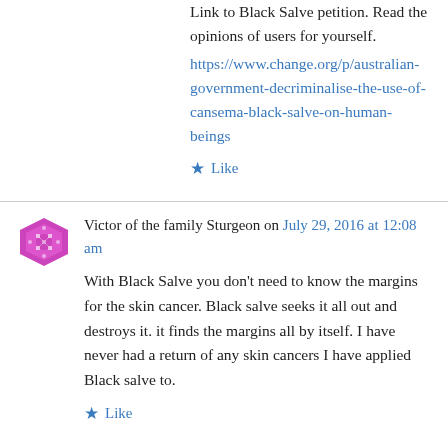Link to Black Salve petition. Read the opinions of users for yourself.
https://www.change.org/p/australian-government-decriminalise-the-use-of-cansema-black-salve-on-human-beings
★ Like
Victor of the family Sturgeon on July 29, 2016 at 12:08 am
With Black Salve you don't need to know the margins for the skin cancer. Black salve seeks it all out and destroys it. it finds the margins all by itself. I have never had a return of any skin cancers I have applied Black salve to.
★ Like